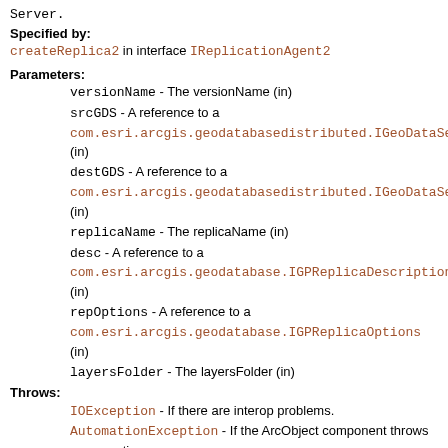Server.
Specified by:
createReplica2 in interface IReplicationAgent2
Parameters:
versionName - The versionName (in)
srcGDS - A reference to a com.esri.arcgis.geodatabasedistributed.IGeoDataServer (in)
destGDS - A reference to a com.esri.arcgis.geodatabasedistributed.IGeoDataServer (in)
replicaName - The replicaName (in)
desc - A reference to a com.esri.arcgis.geodatabase.IGPReplicaDescription (in)
repOptions - A reference to a com.esri.arcgis.geodatabase.IGPReplicaOptions (in)
layersFolder - The layersFolder (in)
Throws:
IOException - If there are interop problems.
AutomationException - If the ArcObject component throws an exception.
setCancelTrackerByRef
public void setCancelTrackerByRef(ITrackCancel rhs1) throws IOException, AutomationException
The cancel tracker to inspect for user cancellations.